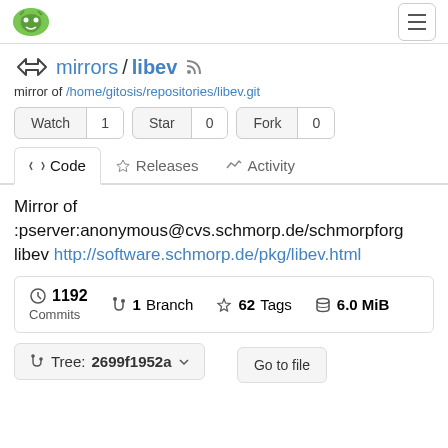Gitea logo and hamburger menu navigation
mirrors / libev
mirror of /home/gitosis/repositories/libev.git
Watch 1  Star 0  Fork 0
Code  Releases  Activity
Mirror of :pserver:anonymous@cvs.schmorp.de/schmorpforge libev http://software.schmorp.de/pkg/libev.html
| Commits | Branch | Tags | Size |
| --- | --- | --- | --- |
| 1192 | 1 | 62 | 6.0 MiB |
Tree: 2699f1952a
Go to file